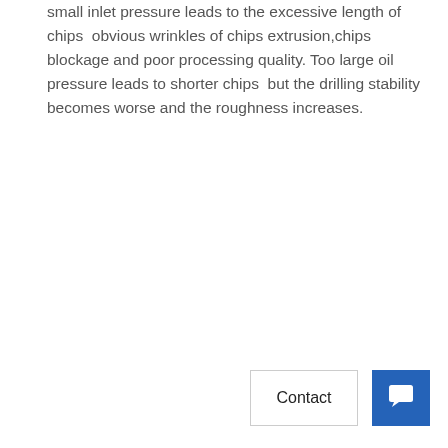small inlet pressure leads to the excessive length of chips  obvious wrinkles of chips extrusion,chips blockage and poor processing quality. Too large oil pressure leads to shorter chips  but the drilling stability becomes worse and the roughness increases.
[Figure (other): Contact button and chat icon button in the bottom-right corner of the page]